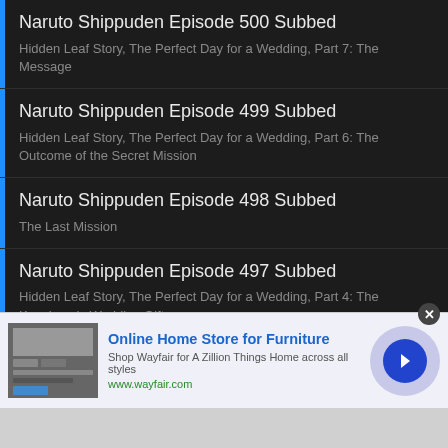Naruto Shippuden Episode 500 Subbed
Hidden Leaf Story, The Perfect Day for a Wedding, Part 7: The Message
Naruto Shippuden Episode 499 Subbed
Hidden Leaf Story, The Perfect Day for a Wedding, Part 6: The Outcome of the Secret Mission
Naruto Shippuden Episode 498 Subbed
The Last Mission
Naruto Shippuden Episode 497 Subbed
Hidden Leaf Story, The Perfect Day for a Wedding, Part 4: The Kazekage's Wedding Gift
Naruto Shippuden Episode 496 Subbed
Hidden Leaf Story, The Perfect Day for a Wedding, Part 3: Steam and
[Figure (screenshot): Advertisement banner for Wayfair Online Home Store for Furniture with image, text, and arrow button]